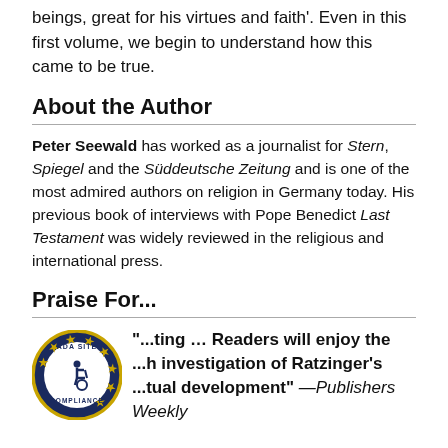beings, great for his virtues and faith'. Even in this first volume, we begin to understand how this came to be true.
About the Author
Peter Seewald has worked as a journalist for Stern, Spiegel and the Süddeutsche Zeitung and is one of the most admired authors on religion in Germany today. His previous book of interviews with Pope Benedict Last Testament was widely reviewed in the religious and international press.
Praise For...
[Figure (logo): ADA Site Compliance badge/seal — circular navy blue badge with gold stars and accessibility wheelchair icon]
"...ting … Readers will enjoy the ...h investigation of Ratzinger's ...tual development" —Publishers Weekly